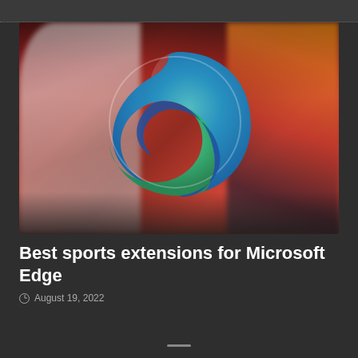[Figure (photo): Blurred soccer/football match photo with Microsoft Edge browser logo overlaid in the center. Two players visible on left and right sides, red stadium background. The Edge logo is a large circular wave shape in blue and green gradient.]
Best sports extensions for Microsoft Edge
August 19, 2022